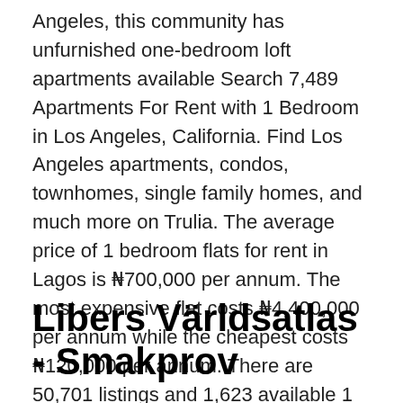Angeles, this community has unfurnished one-bedroom loft apartments available Search 7,489 Apartments For Rent with 1 Bedroom in Los Angeles, California. Find Los Angeles apartments, condos, townhomes, single family homes, and much more on Trulia. The average price of 1 bedroom flats for rent in Lagos is ₦700,000 per annum. The most expensive flat costs ₦4,400,000 per annum while the cheapest costs ₦120,000 per annum. There are 50,701 listings and 1,623 available 1 bedroom flats for rent in Lagos, Nigeria.
Libers Världsatlas - Smakprov